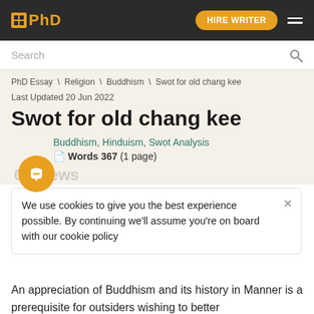PhD  HIRE WRITER
Search
PhD Essay \ Religion \ Buddhism \ Swot for old chang kee
Last Updated 20 Jun 2022
Swot for old chang kee
Category: Buddhism, Hinduism, Swot Analysis
Words 367 (1 page)
We use cookies to give you the best experience possible. By continuing we'll assume you're on board with our cookie policy
An appreciation of Buddhism and its history in Manner is a prerequisite for outsiders wishing to better